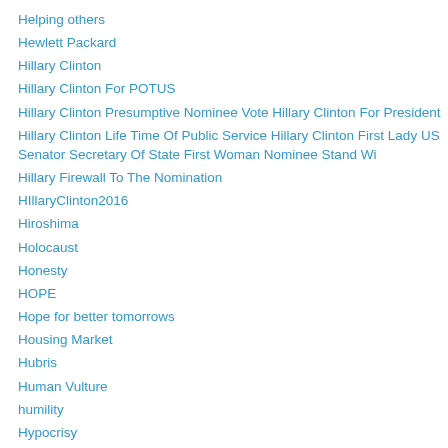Helping others
Hewlett Packard
Hillary Clinton
Hillary Clinton For POTUS
Hillary Clinton Presumptive Nominee Vote Hillary Clinton For President
Hillary Clinton Life Time Of Public Service Hillary Clinton First Lady US Senator Secretary Of State First Woman Nominee Stand Wi
Hillary Firewall To The Nomination
HIllaryClinton2016
Hiroshima
Holocaust
Honesty
HOPE
Hope for better tomorrows
Housing Market
Hubris
Human Vulture
humility
Hypocrisy
Illness